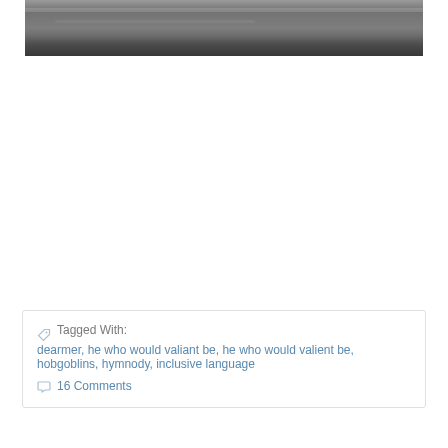[Figure (photo): Photograph of a concrete or stone ledge/architectural detail, showing a gray textured surface. Only the bottom portion of the image is visible.]
Tagged With: dearmer, he who would valiant be, he who would valient be, hobgoblins, hymnody, inclusive language
16 Comments